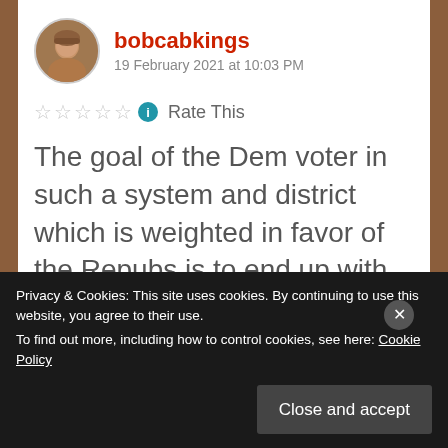[Figure (photo): Circular avatar photo of a man with short hair on brownish background]
bobcabkings
19 February 2021 at 10:03 PM
☆☆☆☆☆ ℹ Rate This
The goal of the Dem voter in such a system and district which is weighted in favor of the Repubs is to end up with the best Dem running against
Privacy & Cookies: This site uses cookies. By continuing to use this website, you agree to their use.
To find out more, including how to control cookies, see here: Cookie Policy
Close and accept